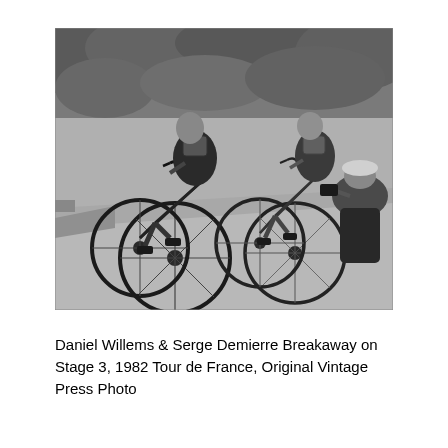[Figure (photo): Black and white vintage press photo of two cyclists racing on bicycles on a road. The cyclist in the foreground leans forward aggressively in a breakaway position. A photographer or spectator crouches beside the road in the background. Trees and vegetation line the road.]
Daniel Willems & Serge Demierre Breakaway on Stage 3, 1982 Tour de France, Original Vintage Press Photo